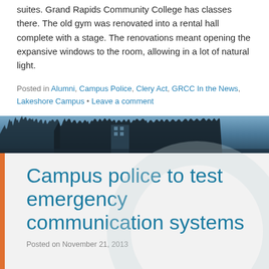suites. Grand Rapids Community College has classes there. The old gym was renovated into a rental hall complete with a stage. The renovations meant opening the expansive windows to the room, allowing in a lot of natural light.
Posted in Alumni, Campus Police, Clery Act, GRCC In the News, Lakeshore Campus • Leave a comment
[Figure (photo): Outdoor photo banner showing bare winter trees against a blue sky with a building visible in the background]
Campus police to test emergency communication systems
Posted on November 21, 2013